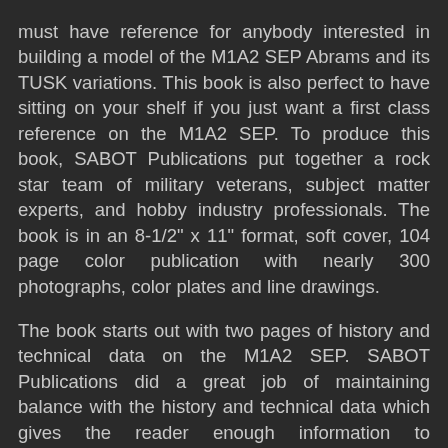must have reference for anybody interested in building a model of the M1A2 SEP Abrams and its TUSK variations. This book is also perfect to have sitting on your shelf if you just want a first class reference on the M1A2 SEP. To produce this book, SABOT Publications put together a rock star team of military veterans, subject matter experts, and hobby industry professionals. The book is in an 8-1/2" x 11" format, soft cover, 104 page color publication with nearly 300 photographs, color plates and line drawings.
The book starts out with two pages of history and technical data on the M1A2 SEP. SABOT Publications did a great job of maintaining balance with the history and technical data which gives the reader enough information to understand the system and its capabilities but doesn’t lose you in extensive technical discussion.
Twenty-eight pages of the publication are M1A2 SEP ‘In Action’ photographs. The photographs in this